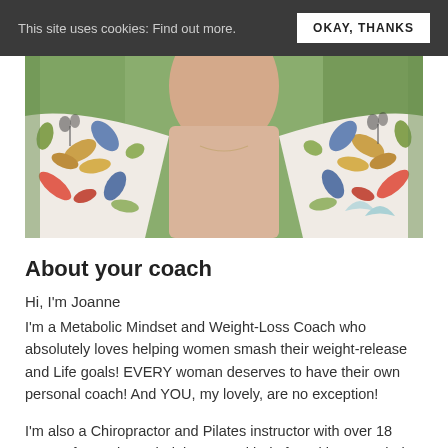This site uses cookies: Find out more.  OKAY, THANKS
[Figure (photo): Close-up photo of a woman's torso and neck wearing a white floral patterned kimono/blouse with colorful leaf and flower prints in orange, blue, gold, and green tones. The background shows blurred green foliage.]
About your coach
Hi, I'm Joanne
I'm a Metabolic Mindset and Weight-Loss Coach who absolutely loves helping women smash their weight-release and Life goals! EVERY woman deserves to have their own personal coach! And YOU, my lovely, are no exception!
I'm also a Chiropractor and Pilates instructor with over 18 years of experience helping every kind of Soul improve their health